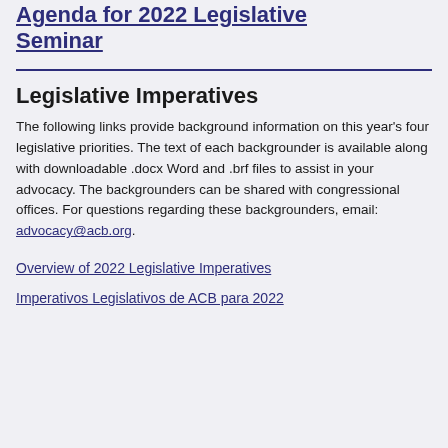Agenda for 2022 Legislative Seminar
Legislative Imperatives
The following links provide background information on this year's four legislative priorities. The text of each backgrounder is available along with downloadable .docx Word and .brf files to assist in your advocacy. The backgrounders can be shared with congressional offices. For questions regarding these backgrounders, email: advocacy@acb.org.
Overview of 2022 Legislative Imperatives
Imperativos Legislativos de ACB para 2022